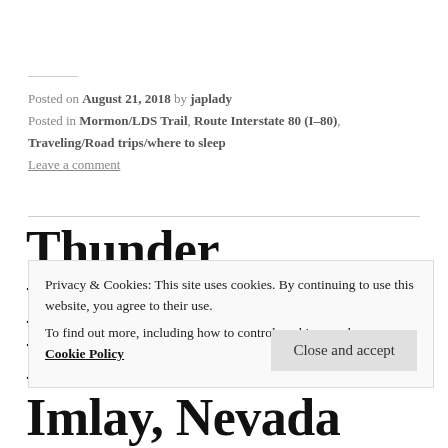Posted on August 21, 2018 by japlady
Posted in Mormon/LDS Trail, Route Interstate 80 (I-80), Traveling/Road trips/where to sleep
Leave a comment
Thunder Mountain Monument: Imlay, Nevada
Privacy & Cookies: This site uses cookies. By continuing to use this website, you agree to their use.
To find out more, including how to control cookies, see here: Cookie Policy